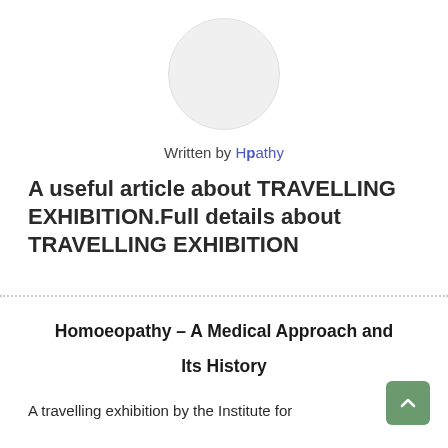[Figure (illustration): Gray circular avatar placeholder image]
Written by Hpathy
A useful article about TRAVELLING EXHIBITION.Full details about TRAVELLING EXHIBITION
Homoeopathy – A Medical Approach and Its History
A travelling exhibition by the Institute for